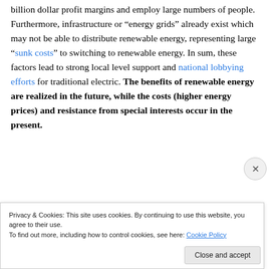billion dollar profit margins and employ large numbers of people. Furthermore, infrastructure or “energy grids” already exist which may not be able to distribute renewable energy, representing large “sunk costs” to switching to renewable energy. In sum, these factors lead to strong local level support and national lobbying efforts for traditional electric. The benefits of renewable energy are realized in the future, while the costs (higher energy prices) and resistance from special interests occur in the present.
...DC... “off the grid” th...
Privacy & Cookies: This site uses cookies. By continuing to use this website, you agree to their use. To find out more, including how to control cookies, see here: Cookie Policy